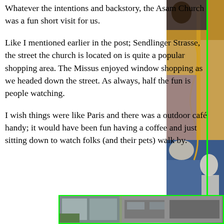Whatever the intentions and backstory, the Asam Church was a fun short visit for us.

Like I mentioned earlier in the post; Sendlinger Strasse, the street the church is located on is quite a popular shopping area. The Missus enjoyed window shopping as we headed down the street. As always, half the fun is people watching.

I wish things were like Paris and there was a outdoor café handy; it would have been fun having a coffee and just sitting down to watch folks (and their pets) walk by.
[Figure (photo): Right side: partial view of ornate church interior with golden decorations, figures, and blue/gold baroque artwork]
[Figure (photo): Bottom: partial view of a modern building exterior with glass and grey facade]